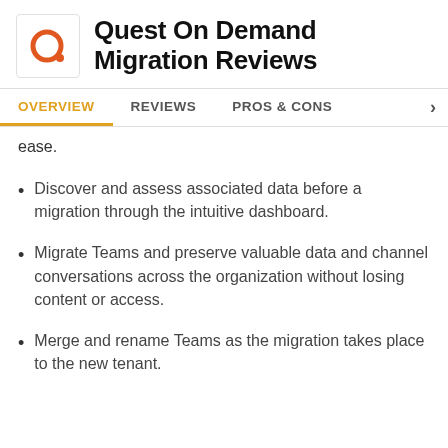Quest On Demand Migration Reviews
OVERVIEW | REVIEWS | PROS & CONS
ease.
Discover and assess associated data before a migration through the intuitive dashboard.
Migrate Teams and preserve valuable data and channel conversations across the organization without losing content or access.
Merge and rename Teams as the migration takes place to the new tenant.